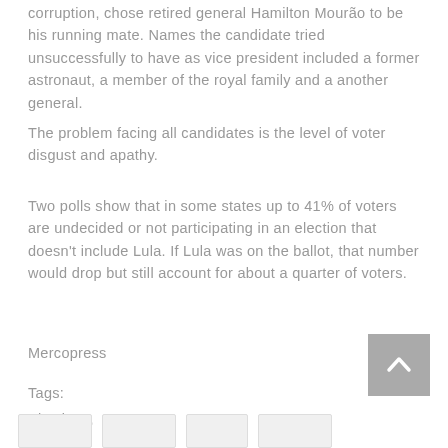corruption, chose retired general Hamilton Mourão to be his running mate. Names the candidate tried unsuccessfully to have as vice president included a former astronaut, a member of the royal family and a another general.
The problem facing all candidates is the level of voter disgust and apathy.
Two polls show that in some states up to 41% of voters are undecided or not participating in an election that doesn't include Lula. If Lula was on the ballot, that number would drop but still account for about a quarter of voters.
Mercopress
Tags:
Elections, Geraldo Alckmin, Jair Bolsonaro, Lula
, Marina da Silva, Presidential election
[Figure (other): Back to top button (arrow up) in grey box, bottom right]
[Figure (other): Social media share buttons row at bottom]